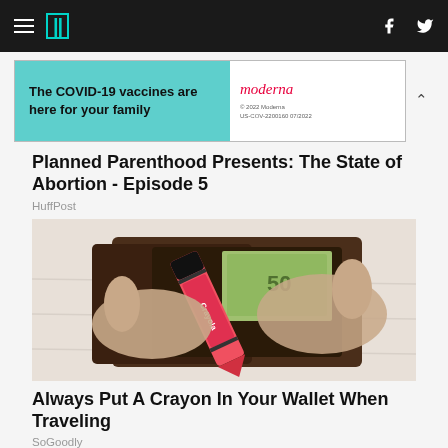HuffPost navigation bar with hamburger menu, logo, Facebook and Twitter icons
[Figure (screenshot): Advertisement banner for Moderna COVID-19 vaccines: 'The COVID-19 vaccines are here for your family' on teal background, Moderna logo on white right side with copyright text '© 2022 Moderna US-COV-2200160 07/2022']
Planned Parenthood Presents: The State of Abortion - Episode 5
HuffPost
[Figure (photo): Hands holding open a brown leather wallet with a Crayola crayon (red/pink) inserted inside, with Euro banknotes visible, on a white wooden surface]
Always Put A Crayon In Your Wallet When Traveling
SoGoodly